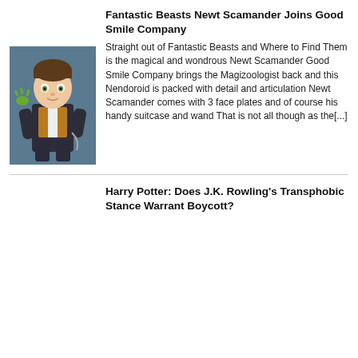Fantastic Beasts Newt Scamander Joins Good Smile Company
[Figure (photo): Nendoroid chibi-style figure of Newt Scamander from Fantastic Beasts, holding a green creature, wearing a dark suit with orange waistcoat, against a blue-grey background]
Straight out of Fantastic Beasts and Where to Find Them is the magical and wondrous Newt Scamander Good Smile Company brings the Magizoologist back and this Nendoroid is packed with detail and articulation Newt Scamander comes with 3 face plates and of course his handy suitcase and wand That is not all though as the[...]
Harry Potter: Does J.K. Rowling's Transphobic Stance Warrant Boycott?